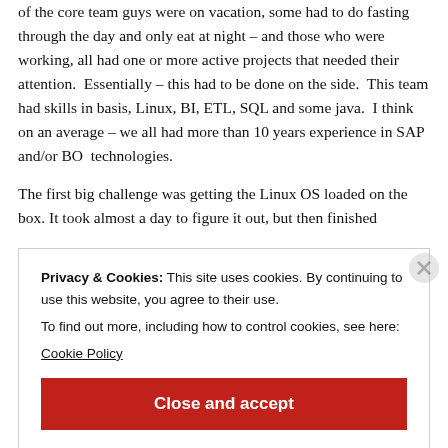of the core team guys were on vacation, some had to do fasting through the day and only eat at night – and those who were working, all had one or more active projects that needed their attention.  Essentially – this had to be done on the side.  This team had skills in basis, Linux, BI, ETL, SQL and some java.  I think on an average – we all had more than 10 years experience in SAP and/or BO  technologies.
The first big challenge was getting the Linux OS loaded on the box. It took almost a day to figure it out, but then finished
Privacy & Cookies: This site uses cookies. By continuing to use this website, you agree to their use.
To find out more, including how to control cookies, see here:
Cookie Policy
Close and accept